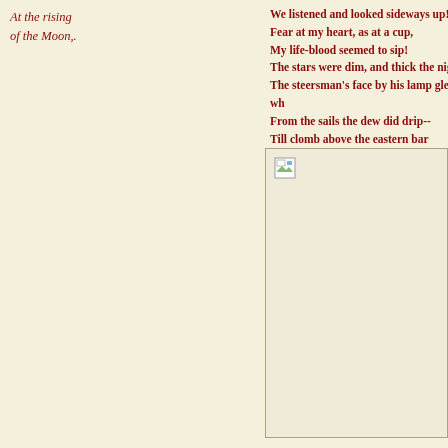At the rising of the Moon,.
We listened and looked sideways up!
Fear at my heart, as at a cup,
My life-blood seemed to sip!
The stars were dim, and thick the night,
The steersman's face by his lamp gleamed wh
From the sails the dew did drip--
Till clomb above the eastern bar
The hornèd Moon, with one bright star
Within the nether tip.
[Figure (photo): Image placeholder with broken image icon, appears to be an illustration for the poem]